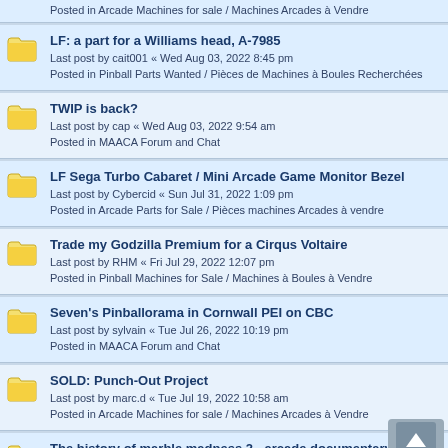Posted in Arcade Machines for sale / Machines Arcades à Vendre
LF: a part for a Williams head, A-7985
Last post by cait001 « Wed Aug 03, 2022 8:45 pm
Posted in Pinball Parts Wanted / Pièces de Machines à Boules Recherchées
TWIP is back?
Last post by cap « Wed Aug 03, 2022 9:54 am
Posted in MAACA Forum and Chat
LF Sega Turbo Cabaret / Mini Arcade Game Monitor Bezel
Last post by Cybercid « Sun Jul 31, 2022 1:09 pm
Posted in Arcade Parts for Sale / Pièces machines Arcades à vendre
Trade my Godzilla Premium for a Cirqus Voltaire
Last post by RHM « Fri Jul 29, 2022 12:07 pm
Posted in Pinball Machines for Sale / Machines à Boules à Vendre
Seven's Pinballorama in Cornwall PEI on CBC
Last post by sylvain « Tue Jul 26, 2022 10:19 pm
Posted in MAACA Forum and Chat
SOLD: Punch-Out Project
Last post by marc.d « Tue Jul 19, 2022 10:58 am
Posted in Arcade Machines for sale / Machines Arcades à Vendre
The history of marble madness 2 - arcade documentary
Last post by patmanqc « Fri Jul 15, 2022 8:17 am
Posted in MAACA Forum and Chat
Judge Dredd
Last post by Playr_Juan « Thu Jul 14, 2022 2:18 pm